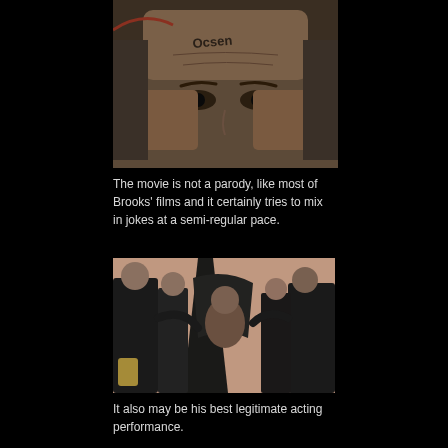[Figure (photo): Close-up of a man's face with a tattoo on his forehead reading 'Ocsen' or similar text, showing intense eyes and wrinkled forehead]
The movie is not a parody, like most of Brooks' films and it certainly tries to mix in jokes at a semi-regular pace.
[Figure (photo): Scene of a crowd of people in formal attire surrounding a large dark statue or figure being held up]
It also may be his best legitimate acting performance.